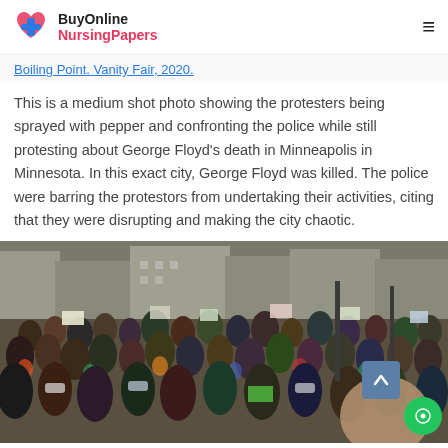BuyOnline NursingPapers
Boiling Point. Vanity Fair, 2020.
This is a medium shot photo showing the protesters being sprayed with pepper and confronting the police while still protesting about George Floyd's death in Minneapolis in Minnesota. In this exact city, George Floyd was killed. The police were barring the protestors from undertaking their activities, citing that they were disrupting and making the city chaotic.
[Figure (photo): A large crowd of protesters, many wearing masks, holding signs and gathered in a city street, protesting about George Floyd's death in Minneapolis, Minnesota.]